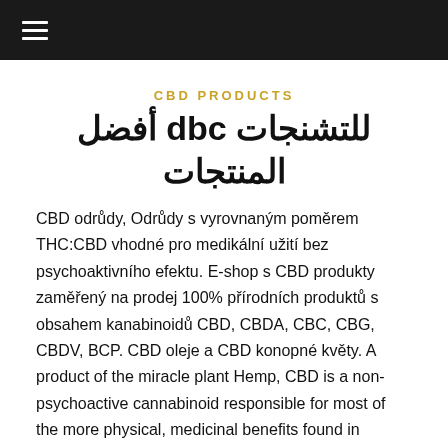≡ (hamburger menu)
CBD PRODUCTS
للتشنجات cbd أفضل المنتجات
CBD odrůdy, Odrůdy s vyrovnaným poměrem THC:CBD vhodné pro medikální užití bez psychoaktivního efektu. E-shop s CBD produkty zaměřený na prodej 100% přírodních produktů s obsahem kanabinoidů CBD, CBDA, CBC, CBG, CBDV, BCP. CBD oleje a CBD konopné květy. A product of the miracle plant Hemp, CBD is a non-psychoactive cannabinoid responsible for most of the more physical, medicinal benefits found in cannabis, without the high or stoned effect normally associated with Marijuana use. Kvalitní 100% přírodní CBD oleje (fenixovy slzy), extrahované z technického konopí, které